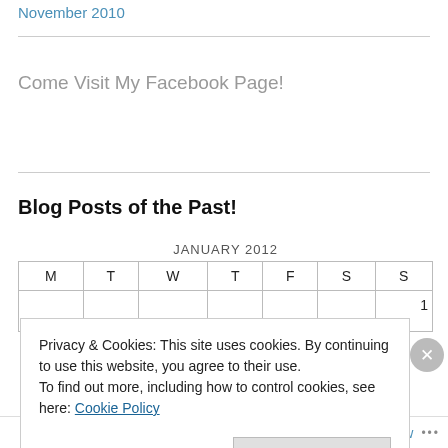November 2010
Come Visit My Facebook Page!
Blog Posts of the Past!
| M | T | W | T | F | S | S |
| --- | --- | --- | --- | --- | --- | --- |
|  |  |  |  |  |  | 1 |
Privacy & Cookies: This site uses cookies. By continuing to use this website, you agree to their use.
To find out more, including how to control cookies, see here: Cookie Policy
Close and accept
Follow